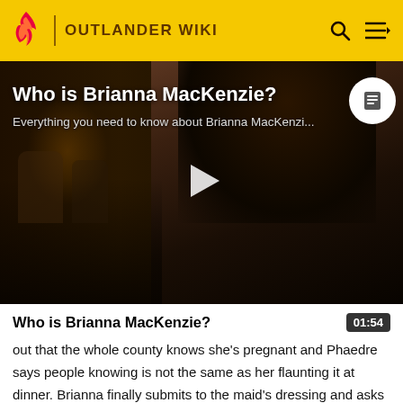OUTLANDER WIKI
[Figure (screenshot): Video thumbnail showing a young woman with long dark hair, overlay text 'Who is Brianna MacKenzie?' and 'Everything you need to know about Brianna MacKenzi...' with a play button in the center]
Who is Brianna MacKenzie?
out that the whole county knows she's pregnant and Phaedre says people knowing is not the same as her flaunting it at dinner. Brianna finally submits to the maid's dressing and asks who the lord is. Phaedre tells her it is